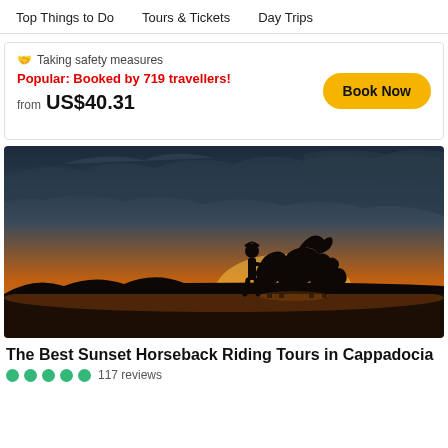Top Things to Do   Tours & Tickets   Day Trips
🤝 Taking safety measures
Popular: Booked by 719 travellers!
from US$40.31
[Figure (photo): Silhouette of a cowboy standing next to a horse at sunset in Cappadocia, with dramatic cloudy sky and golden orange horizon.]
The Best Sunset Horseback Riding Tours in Cappadocia
117 reviews